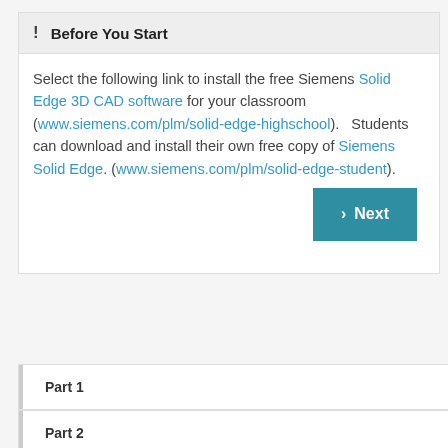Before You Start
Select the following link to install the free Siemens Solid Edge 3D CAD software for your classroom (www.siemens.com/plm/solid-edge-highschool).  Students can download and install their own free copy of Siemens Solid Edge. (www.siemens.com/plm/solid-edge-student).
Part 1
Part 2